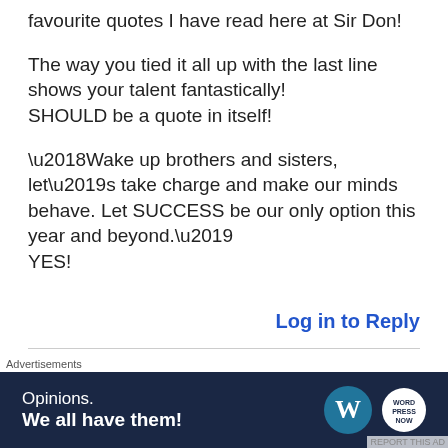favourite quotes I have read here at Sir Don!
The way you tied it all up with the last line shows your talent fantastically!
SHOULD be a quote in itself!
‘Wake up brothers and sisters, let’s take charge and make our minds behave. Let SUCCESS be our only option this year and beyond.’
YES!
Log in to Reply
jagweng
Advertisements
[Figure (other): Advertisement banner: dark navy background with text 'Opinions. We all have them!' and WordPress and WordPress.com NOW logos on the right.]